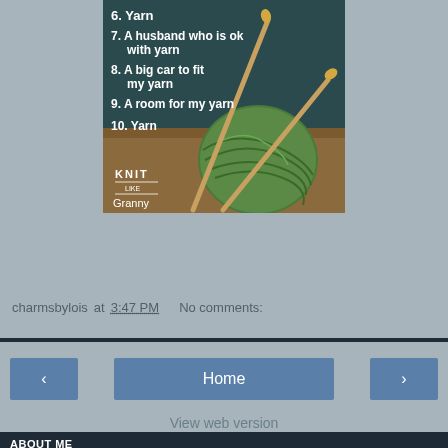[Figure (illustration): A knitting humor image showing a ball of green yarn with knitting needles, overlaid with text listing items 6-10: '6. Yarn', '7. A husband who is ok with yarn', '8. A big car to fit my yarn', '9. A room for my yarn', '10. Yarn'. Bottom-left corner shows 'KNIT like Granny' branding.]
charmsbylois at 3:47 PM    No comments:
Home | View web version | ABOUT ME | charmsbylois